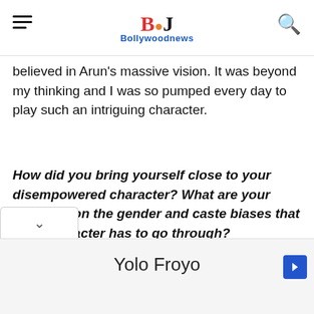Bollywoodnews
believed in Arun's massive vision. It was beyond my thinking and I was so pumped every day to play such an intriguing character.
How did you bring yourself close to your disempowered character? What are your thoughts on the gender and caste biases that your character has to go through?
Yolo Froyo